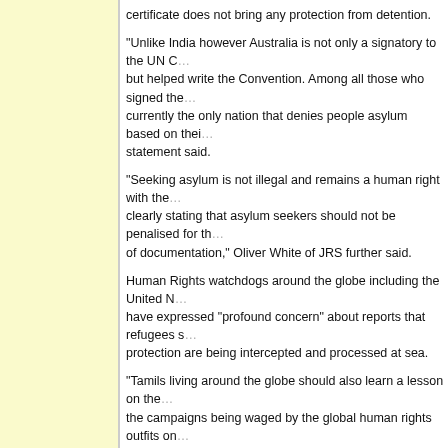certificate does not bring any protection from detention.
“Unlike India however Australia is not only a signatory to the UN Convention but helped write the Convention. Among all those who signed the Convention, Australia is currently the only nation that denies people asylum based on their mode of arrival,” the statement said.
“Seeking asylum is not illegal and remains a human right with the 1951 Convention clearly stating that asylum seekers should not be penalised for their mode of arrival or lack of documentation,” Oliver White of JRS further said.
Human Rights watchdogs around the globe including the United Nations have expressed “profound concern” about reports that refugees seeking protection are being intercepted and processed at sea.
“Tamils living around the globe should also learn a lesson on the campaigns being waged by the global human rights outfits on the island said. “When even Australia is not prepared to listen to the genocidal State like Sri Lanka listen to their campaigns,” the activist said. “Tamils should pay more attention towards waging ‘system-changing’ struggle before getting into the hands of the ‘regime-changing’ outfits.”
Chronology:
07.07.14  Australian HC issues interim injunction against de..
04.07.14  Australia PM Abbott praises genocidal Sri Lanka as...
01.07.14  Australia plays with lives of 153 Tamil refugees
Related Articles:
26.06.14   Eezham Tamils and duplicity of West's human rights ca...
External Links:
The Sydney Morning Herald:  Tony Abbott praises Sri Lanka’s human rights record as speculation Tamil asylum seekers were handed to Sri Lanka navy
Catholic Bishop and Jesuit Refugee Service...